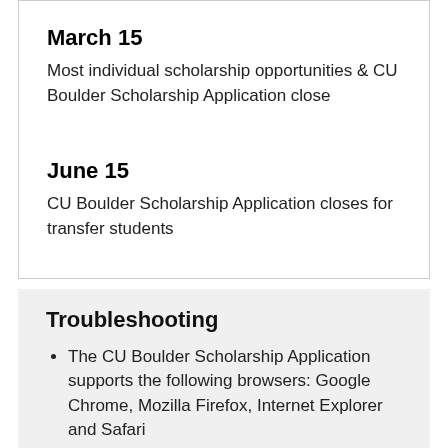March 15
Most individual scholarship opportunities & CU Boulder Scholarship Application close
June 15
CU Boulder Scholarship Application closes for transfer students
Troubleshooting
The CU Boulder Scholarship Application supports the following browsers: Google Chrome, Mozilla Firefox, Internet Explorer and Safari